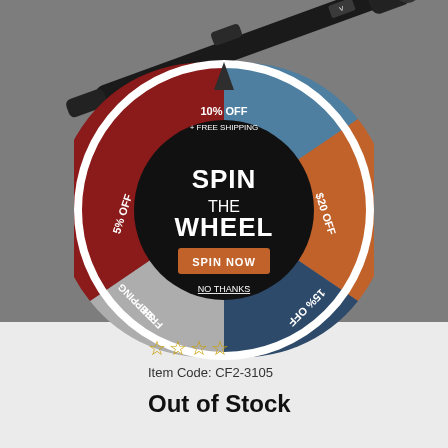[Figure (photo): Rifle scope on gray background, partially visible at top of page]
[Figure (infographic): Spin the Wheel promotional popup with colored pie wheel segments showing: 10% OFF + FREE SHIPPING (top, blue), $20 OFF (right, orange), 15% OFF (bottom right, dark blue), FREE SHIPPING (bottom left, gray), 5% OFF (left, red/dark red). Center black circle with SPIN THE WHEEL text and orange SPIN NOW button. NO THANKS link below button.]
Item Code: CF2-3105
Out of Stock